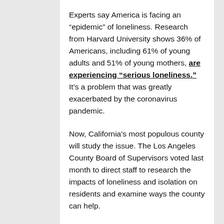Experts say America is facing an “epidemic” of loneliness. Research from Harvard University shows 36% of Americans, including 61% of young adults and 51% of young mothers, are experiencing “serious loneliness.” It’s a problem that was greatly exacerbated by the coronavirus pandemic.
Now, California's most populous county will study the issue. The Los Angeles County Board of Supervisors voted last month to direct staff to research the impacts of loneliness and isolation on residents and examine ways the county can help.
“The increase in social isolation has been driven, in part, by the pandemic, when we were abiding by the safer-at-home order,